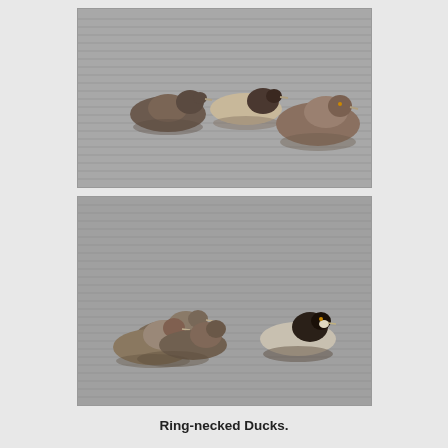[Figure (photo): Three Ring-necked Ducks swimming on water, viewed from the side. Two smaller ducks on the left and one larger on the right. Gray-brown water with horizontal ripples.]
[Figure (photo): Four Ring-necked Ducks swimming on water. A group of three brownish ducks clustered on the left and one darker duck with white face marking on the right. Gray water with horizontal ripples.]
Ring-necked Ducks.